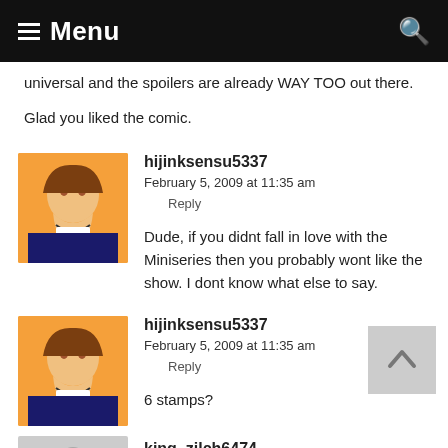Menu
universal and the spoilers are already WAY TOO out there.

Glad you liked the comic.
hijinksensu5337
February 5, 2009 at 11:35 am
Reply

Dude, if you didnt fall in love with the Miniseries then you probably wont like the show. I dont know what else to say.
hijinksensu5337
February 5, 2009 at 11:35 am
Reply

6 stamps?
king_zilch6474